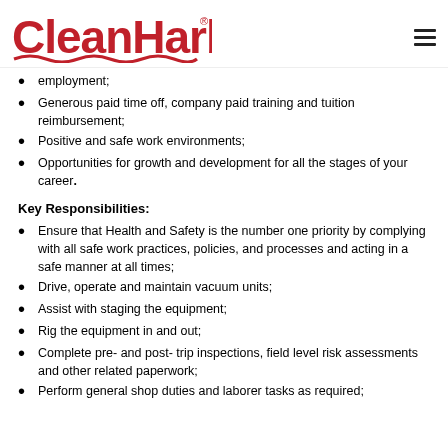[Figure (logo): Clean Harbors logo in red with stylized wave/harbor design and registered trademark symbol]
employment;
Generous paid time off, company paid training and tuition reimbursement;
Positive and safe work environments;
Opportunities for growth and development for all the stages of your career.
Key Responsibilities:
Ensure that Health and Safety is the number one priority by complying with all safe work practices, policies, and processes and acting in a safe manner at all times;
Drive, operate and maintain vacuum units;
Assist with staging the equipment;
Rig the equipment in and out;
Complete pre- and post- trip inspections, field level risk assessments and other related paperwork;
Perform general shop duties and laborer tasks as required;